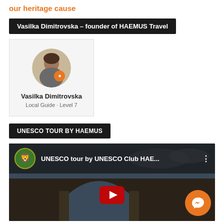our heritage cause
Vasilka Dimitrovska – founder of HAEMUS Travel
[Figure (screenshot): Profile card showing Vasilka Dimitrovska with circular avatar photo and badge, labeled 'Local Guide · Level 7']
UNESCO TOUR BY HAEMUS
[Figure (screenshot): YouTube video thumbnail for UNESCO tour by UNESCO Club HAE... with HAEMUS logo and messenger button overlay]